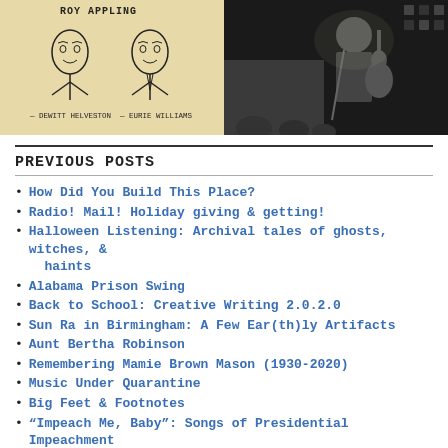[Figure (illustration): Hand-drawn sketch of two men labeled 'Roy Appling', 'Dewitt Helveston', and 'Eurie Williams' on a tan/beige background]
[Figure (photo): Black and white photograph of a musician performing on stage with a guitar]
PREVIOUS POSTS
How Did You Build This Place?
Radio! Mail! Holiday giving & getting!
Halloween Listening: Archival tales of ghosts, witches, & haints
Alabama Prison Swing
Back to School: Creative Writing 2.0.2.0
Sun Ra in Birmingham: A Few Ear(th)ly Artifacts
Aunt Bertha Robinson
Remembering Mamie Brown Mason (1930-2020)
Music Under Quarantine
Big Feet & Footnotes
“Impeach Me, Baby”: Songs of Presidential Impeachment (1868 – 2020)
A Fire No Water Could Put Out (Memphis, 1968;